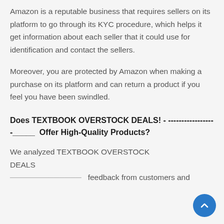Amazon is a reputable business that requires sellers on its platform to go through its KYC procedure, which helps it get information about each seller that it could use for identification and contact the sellers.
Moreover, you are protected by Amazon when making a purchase on its platform and can return a product if you feel you have been swindled.
Does TEXTBOOK OVERSTOCK DEALS! - ------------------_____ Offer High-Quality Products?
We analyzed TEXTBOOK OVERSTOCK DEALS feedback from customers and